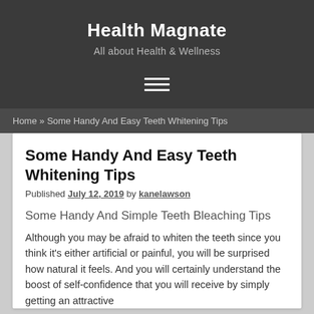Health Magnate
All about Health & Wellness
Home » Some Handy And Easy Teeth Whitening Tips
Some Handy And Easy Teeth Whitening Tips
Published July 12, 2019 by kanelawson
Some Handy And Simple Teeth Bleaching Tips
Although you may be afraid to whiten the teeth since you think it's either artificial or painful, you will be surprised how natural it feels. And you will certainly understand the boost of self-confidence that you will receive by simply getting an attractive